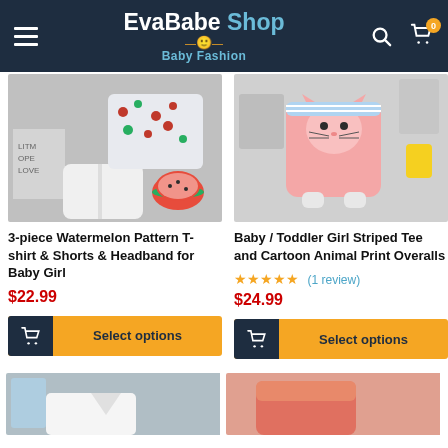EvaBabe Shop Baby Fashion
[Figure (photo): 3-piece Watermelon Pattern T-shirt & Shorts & Headband for Baby Girl product photo on grey background]
3-piece Watermelon Pattern T-shirt & Shorts & Headband for Baby Girl
$22.99
Select options
[Figure (photo): Baby / Toddler Girl Striped Tee and Cartoon Animal Print Overalls product photo on grey background]
Baby / Toddler Girl Striped Tee and Cartoon Animal Print Overalls
(1 review)
$24.99
Select options
[Figure (photo): Partial product image bottom left - baby clothing in blue/white]
[Figure (photo): Partial product image bottom right - baby clothing in coral/orange]